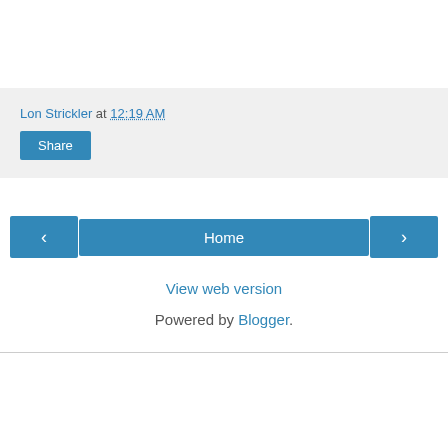Lon Strickler at 12:19 AM
Share
‹
Home
›
View web version
Powered by Blogger.